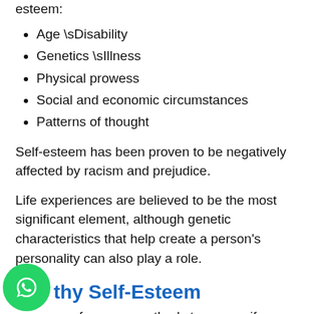esteem:
Age \sDisability
Genetics \sIllness
Physical prowess
Social and economic circumstances
Patterns of thought
Self-esteem has been proven to be negatively affected by racism and prejudice.
Life experiences are believed to be the most significant element, although genetic characteristics that help create a person's personality can also play a role.
Healthy Self-Esteem
are a few easy methods to assess if you have a